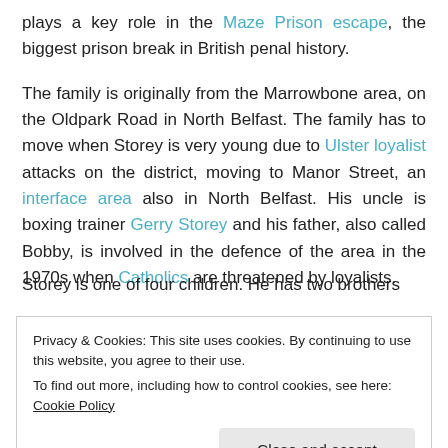plays a key role in the Maze Prison escape, the biggest prison break in British penal history.
The family is originally from the Marrowbone area, on the Oldpark Road in North Belfast. The family has to move when Storey is very young due to Ulster loyalist attacks on the district, moving to Manor Street, an interface area also in North Belfast. His uncle is boxing trainer Gerry Storey and his father, also called Bobby, is involved in the defence of the area in the 1970s when Catholics are threatened by loyalists.
Storey is one of four children. He has two brothers
Privacy & Cookies: This site uses cookies. By continuing to use this website, you agree to their use.
To find out more, including how to control cookies, see here: Cookie Policy
are dubbed the Crumlin Kangaroos.